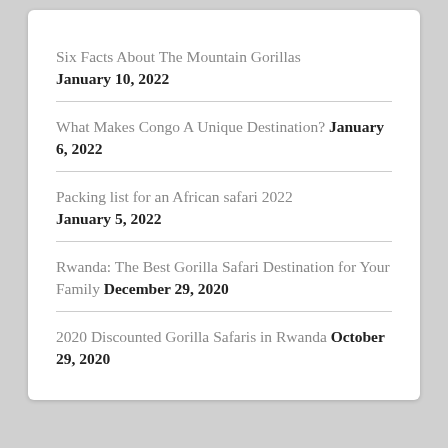Six Facts About The Mountain Gorillas January 10, 2022
What Makes Congo A Unique Destination? January 6, 2022
Packing list for an African safari 2022 January 5, 2022
Rwanda: The Best Gorilla Safari Destination for Your Family December 29, 2020
2020 Discounted Gorilla Safaris in Rwanda October 29, 2020